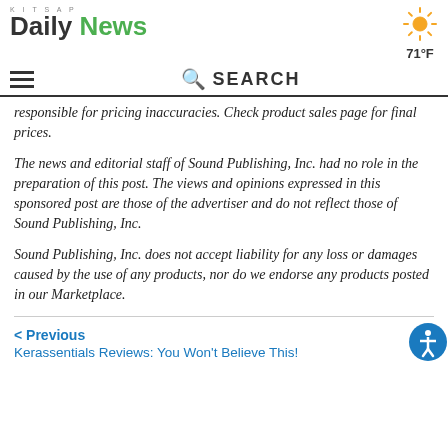Kitsap Daily News — 71°F
responsible for pricing inaccuracies. Check product sales page for final prices.
The news and editorial staff of Sound Publishing, Inc. had no role in the preparation of this post. The views and opinions expressed in this sponsored post are those of the advertiser and do not reflect those of Sound Publishing, Inc.
Sound Publishing, Inc. does not accept liability for any loss or damages caused by the use of any products, nor do we endorse any products posted in our Marketplace.
< Previous
Kerassentials Reviews: You Won't Believe This!